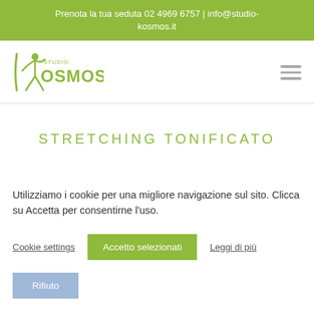Prenota la tua seduta 02 4969 6757 | info@studio-kosmos.it
[Figure (logo): Studio Kosmos logo with green figure and text]
STRETCHING TONIFICATO
Utilizziamo i cookie per una migliore navigazione sul sito. Clicca su Accetta per consentirne l'uso.
Cookie settings
Accetto selezionati
Leggi di più
Rifiuto